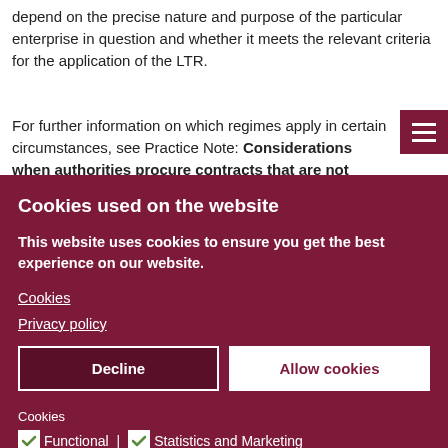depend on the precise nature and purpose of the particular enterprise in question and whether it meets the relevant criteria for the application of the LTR.
For further information on which regimes apply in certain circumstances, see Practice Note: Considerations when authorities procure contracts that are not subject to the full procurement regime. As noted above, public contracts for certain LTR services can be reserved for public sector
[Figure (screenshot): Cookie consent overlay modal with dark crimson/maroon background. Contains title 'Cookies used on the website', descriptive text, links for Cookies and Privacy policy, Decline and Allow cookies buttons, and checkboxes for Functional and Statistics and Marketing cookies.]